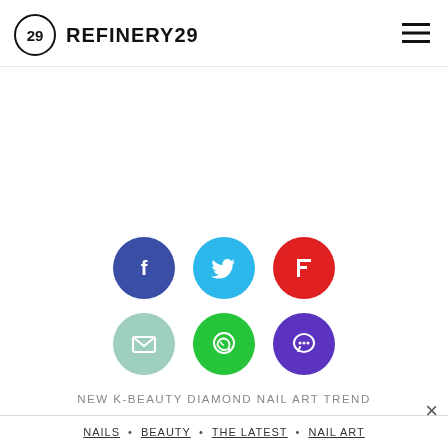REFINERY29
[Figure (infographic): Six social sharing icons arranged in two rows of three: Facebook (dark blue), Twitter (cyan), Flipboard (red), Email (teal), WhatsApp (green), Chat (purple)]
NEW K-BEAUTY DIAMOND NAIL ART TREND
NAILS • BEAUTY • THE LATEST • NAIL ART
WRITTEN BY RACHEL KRAUSE